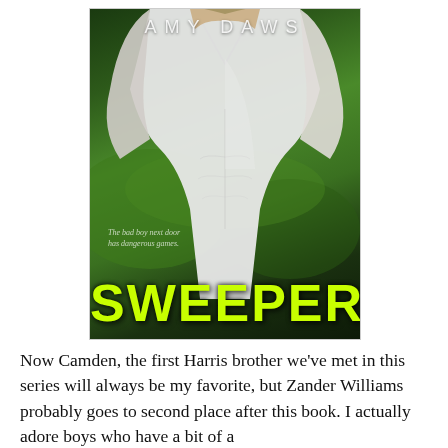[Figure (illustration): Book cover for 'Sweeper' by Amy Daws. Shows a muscular man's torso in a white t-shirt against a blurred green soccer field background. The author name 'AMY DAWS' appears at the top in white spaced letters. A small italic tagline reads 'The bad boy next door has dangerous games.' The title 'SWEEPER' is displayed at the bottom in large bold bright yellow-green letters.]
Now Camden, the first Harris brother we've met in this series will always be my favorite, but Zander Williams probably goes to second place after this book. I actually adore boys who have a bit of a